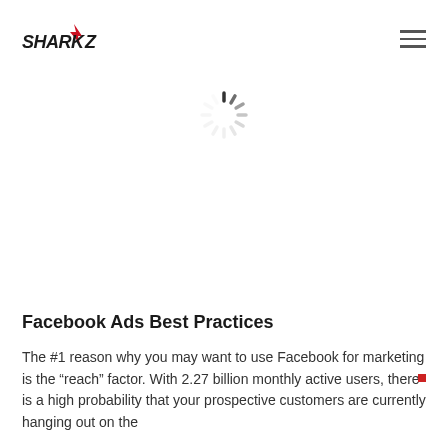SHARKZ logo and hamburger menu
[Figure (illustration): Loading spinner / activity indicator (circular dashes pattern in gray)]
Facebook Ads Best Practices
The #1 reason why you may want to use Facebook for marketing is the “reach” factor. With 2.27 billion monthly active users, there is a high probability that your prospective customers are currently hanging out on the